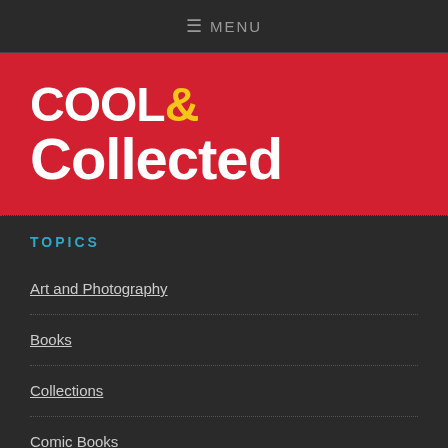≡ MENU
[Figure (logo): Cool & Collected logo in white text on red background, with the ampersand in yellow]
TOPICS
Art and Photography
Books
Collections
Comic Books
Games